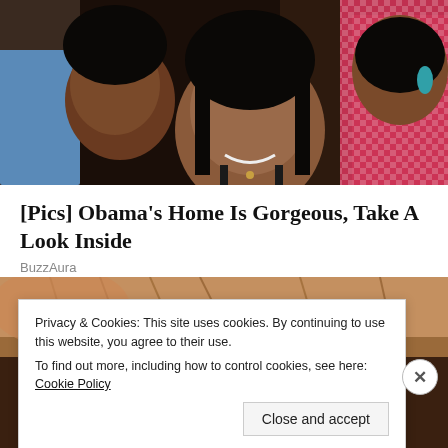[Figure (photo): Group photo of several people including young women, one wearing a black top, another in a pink/red checkered outfit, and a person in a blue shirt in the background.]
[Pics] Obama's Home Is Gorgeous, Take A Look Inside
BuzzAura
[Figure (photo): Close-up photo of a person with brown/reddish hair, partially obscured by a cookie consent banner overlay.]
Privacy & Cookies: This site uses cookies. By continuing to use this website, you agree to their use.
To find out more, including how to control cookies, see here: Cookie Policy
Close and accept